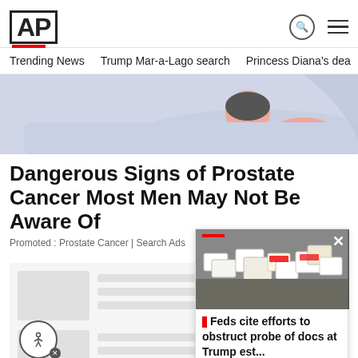AP
Trending News  Trump Mar-a-Lago search  Princess Diana's dea
[Figure (illustration): Illustration of a person lying down, appearing to be a medical/health related image for a prostate cancer advertisement]
Dangerous Signs of Prostate Cancer Most Men May Not Be Aware Of
Promoted : Prostate Cancer | Search Ads
[Figure (screenshot): Loading skeleton cards showing placeholder content rectangles in a news feed layout]
[Figure (photo): Floating video/news card showing boxes and documents on a floor, with caption 'Feds cite efforts to obstruct probe of docs at Trump est...' and a red accent bar and close button]